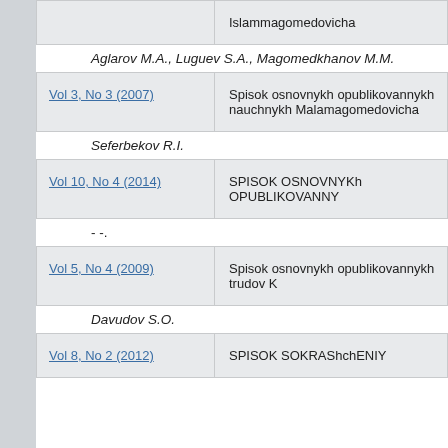| Vol | Title |
| --- | --- |
|  | Islammagomedovicha |
| Aglarov M.A., Luguev S.A., Magomedkhanov M.M. |  |
| Vol 3, No 3 (2007) | Spisok osnovnykh opublikovannykh nauchnykh Malamagomedovicha |
| Seferbekov R.I. |  |
| Vol 10, No 4 (2014) | SPISOK OSNOVNYKh OPUBLIKOVANNY |
| - -. |  |
| Vol 5, No 4 (2009) | Spisok osnovnykh opublikovannykh trudov K |
| Davudov S.O. |  |
| Vol 8, No 2 (2012) | SPISOK SOKRAShchENIY |